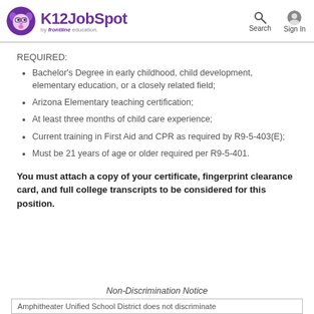K12JobSpot by frontline education. Search Sign In
REQUIRED:
Bachelor's Degree in early childhood, child development, elementary education, or a closely related field;
Arizona Elementary teaching certification;
At least three months of child care experience;
Current training in First Aid and CPR as required by R9-5-403(E);
Must be 21 years of age or older required per R9-5-401.
You must attach a copy of your certificate, fingerprint clearance card, and full college transcripts to be considered for this position.
Non-Discrimination Notice
Amphitheater Unified School District does not discriminate